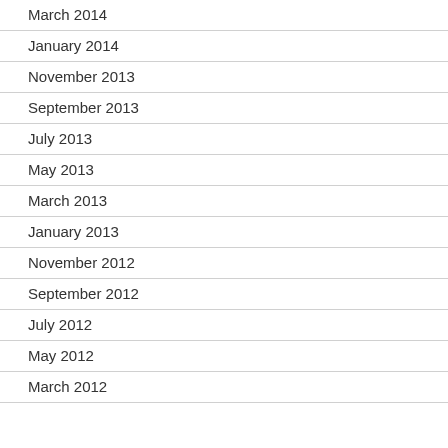March 2014
January 2014
November 2013
September 2013
July 2013
May 2013
March 2013
January 2013
November 2012
September 2012
July 2012
May 2012
March 2012